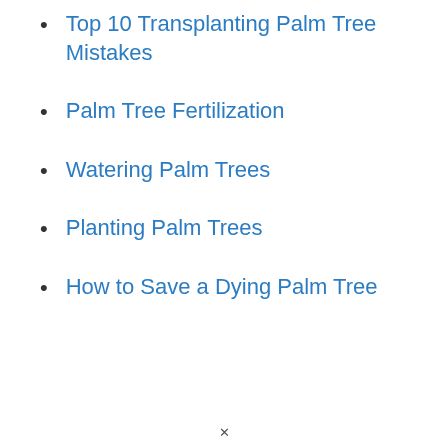Top 10 Transplanting Palm Tree Mistakes
Palm Tree Fertilization
Watering Palm Trees
Planting Palm Trees
How to Save a Dying Palm Tree